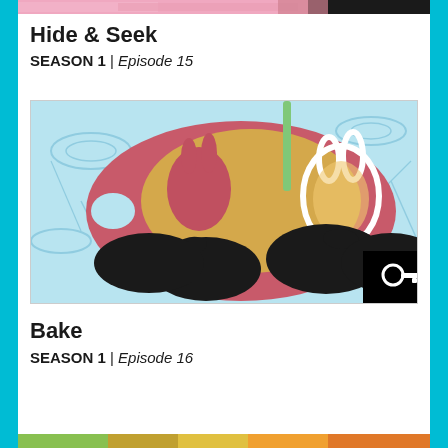[Figure (screenshot): Top partial thumbnail strip showing a colorful scene from Hide & Seek episode]
Hide & Seek
SEASON 1 | Episode 15
[Figure (screenshot): Animated scene showing hands cutting out a bunny cookie shape from dough on a pink cutting board with light blue background. A black key icon badge in bottom-right corner.]
Bake
SEASON 1 | Episode 16
[Figure (screenshot): Bottom partial thumbnail strip showing a colorful outdoor scene]